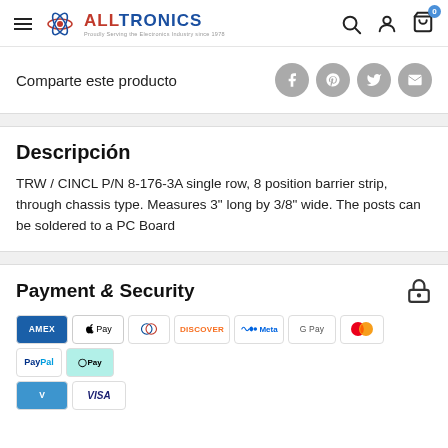ALLTRONICS — Proudly Serving the Electronics Industry since 1978
Comparte este producto
Descripción
TRW / CINCL P/N 8-176-3A single row, 8 position barrier strip, through chassis type. Measures 3" long by 3/8" wide. The posts can be soldered to a PC Board
Payment & Security
[Figure (logo): Payment method logos: AMEX, Apple Pay, Diners, Discover, Meta Pay, Google Pay, Mastercard, PayPal, AfterPay, Venmo, Visa]